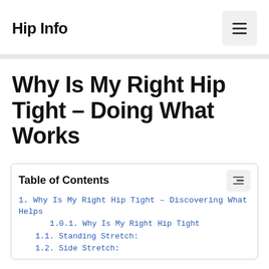Hip Info
Why Is My Right Hip Tight – Doing What Works
Table of Contents
1. Why Is My Right Hip Tight – Discovering What Helps
1.0.1. Why Is My Right Hip Tight
1.1. Standing Stretch:
1.2. Side Stretch: